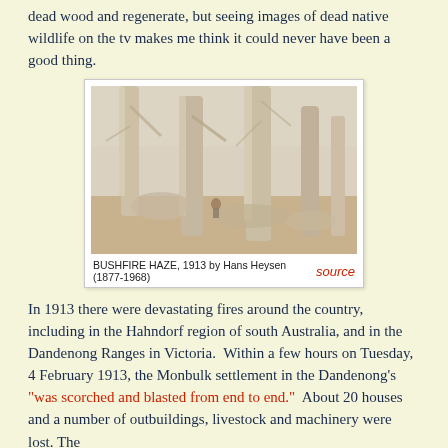dead wood and regenerate, but seeing images of dead native wildlife on the tv makes me think it could never have been a good thing.
[Figure (illustration): Painting titled 'Bushfire Haze, 1913' by Hans Heysen (1877-1968), showing tall pale eucalyptus trees in a hazy bush setting with a small figure in the middle ground.]
BUSHFIRE HAZE, 1913 by Hans Heysen (1877-1968)  source
In 1913 there were devastating fires around the country, including in the Hahndorf region of south Australia, and in the Dandenong Ranges in Victoria.  Within a few hours on Tuesday, 4 February 1913, the Monbulk settlement in the Dandenong's "was scorched and blasted from end to end."  About 20 houses and a number of outbuildings, livestock and machinery were lost. The